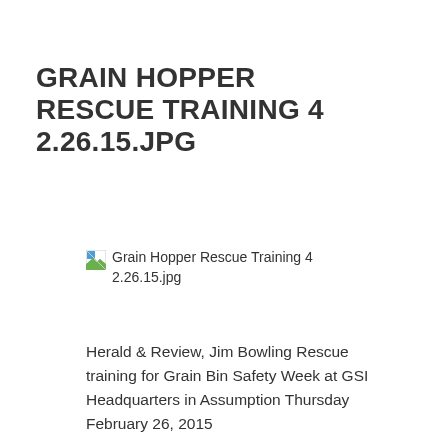GRAIN HOPPER RESCUE TRAINING 4 2.26.15.JPG
[Figure (photo): Broken image placeholder for Grain Hopper Rescue Training 4 2.26.15.jpg]
Herald & Review, Jim Bowling Rescue training for Grain Bin Safety Week at GSI Headquarters in Assumption Thursday February 26, 2015